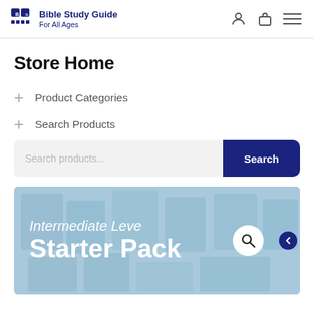Bible Study Guide For All Ages
Store Home
+ Product Categories
+ Search Products
[Figure (screenshot): Search bar with placeholder text 'Search products...' and a dark blue 'Search' button]
[Figure (infographic): Banner image with light blue background showing 'Intermediate Level Starter Pack' text in white, with a search icon overlay and back arrow button]